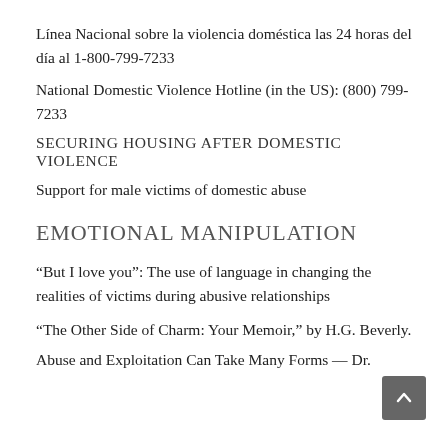Línea Nacional sobre la violencia doméstica las 24 horas del día al 1-800-799-7233
National Domestic Violence Hotline (in the US): (800) 799-7233
SECURING HOUSING AFTER DOMESTIC VIOLENCE
Support for male victims of domestic abuse
EMOTIONAL MANIPULATION
“But I love you”: The use of language in changing the realities of victims during abusive relationships
“The Other Side of Charm: Your Memoir,” by H.G. Beverly.
Abuse and Exploitation Can Take Many Forms — Dr.